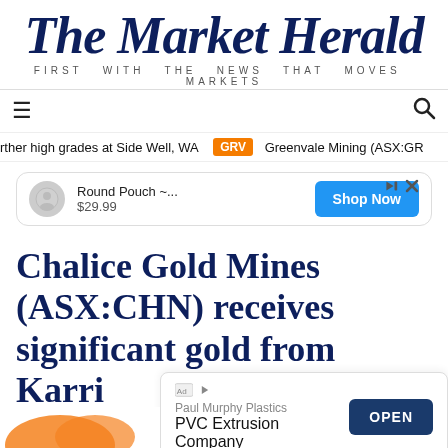The Market Herald — FIRST WITH THE NEWS THAT MOVES MARKETS
rther high grades at Side Well, WA   GRV   Greenvale Mining (ASX:GR
[Figure (screenshot): Advertisement: Round Pouch ~... $29.99 with Shop Now button]
Chalice Gold Mines (ASX:CHN) receives significant gold from Karri
Mining
ASX:C
[Figure (screenshot): Advertisement: Paul Murphy Plastics PVC Extrusion Company with OPEN button]